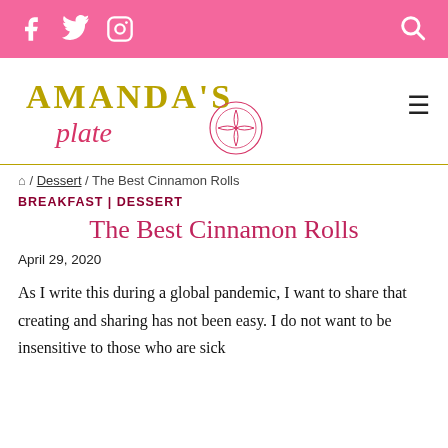Social icons (Facebook, Twitter, Instagram) and search icon on pink bar
[Figure (logo): Amanda's Plate logo with gold uppercase text 'AMANDA'S' and pink cursive 'plate' with a decorative plate/flower illustration]
🏠 / Dessert / The Best Cinnamon Rolls
BREAKFAST | DESSERT
The Best Cinnamon Rolls
April 29, 2020
As I write this during a global pandemic, I want to share that creating and sharing has not been easy. I do not want to be insensitive to those who are sick